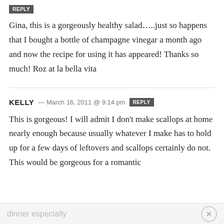REPLY
Gina, this is a gorgeously healthy salad…..just so happens that I bought a bottle of champagne vinegar a month ago and now the recipe for using it has appeared! Thanks so much! Roz at la bella vita
KELLY — March 16, 2011 @ 9:14 pm REPLY
This is gorgeous! I will admit I don't make scallops at home nearly enough because usually whatever I make has to hold up for a few days of leftovers and scallops certainly do not. This would be gorgeous for a romantic
dinner especially